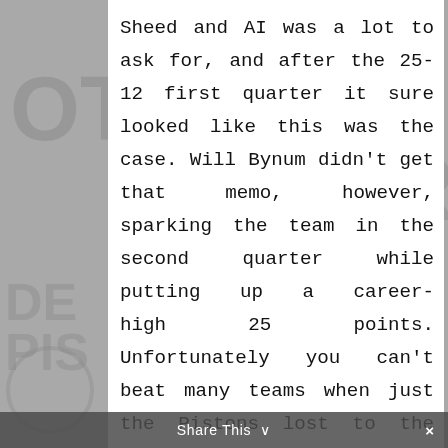[Figure (illustration): Detroit Pistons watermark logo background in gray, visible on left and right sides behind white content panel]
Sheed and AI was a lot to ask for, and after the 25-12 first quarter it sure looked like this was the case. Will Bynum didn't get that memo, however, sparking the team in the second quarter while putting up a career-high 25 points. Unfortunately you can't beat many teams when just two of your players score in double figures and the Pistons lost to the Lakers 93-77
Share This ∨   ×